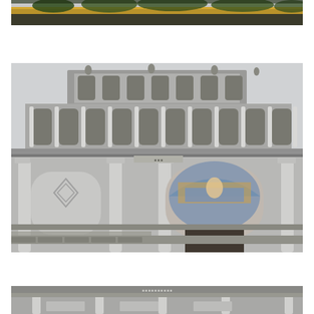[Figure (photo): Top portion of a building facade with golden/yellow ornamental trim and green foliage visible at the top edge, on a grey overcast sky background.]
[Figure (photo): Upward-looking photograph of the facade of what appears to be the Pisa Cathedral (Duomo di Pisa), showing Romanesque-style arched galleries with white marble columns stacked in multiple tiers, a mosaic lunette above a doorway, and ornate decorative stonework, against a grey sky.]
[Figure (photo): Partial bottom view of a classical building facade with stone columns and decorative friezes, cropped at the bottom of the page.]